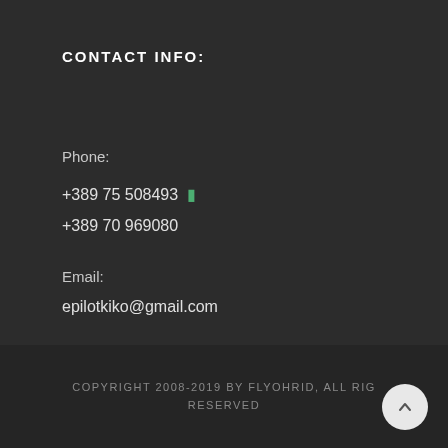CONTACT INFO:
Phone:
+389 75 508493 🟩
+389 70 969080
Email:
epilotkiko@gmail.com
COPYRIGHT 2008-2019 BY FLYOHRID, ALL RIGHTS RESERVED